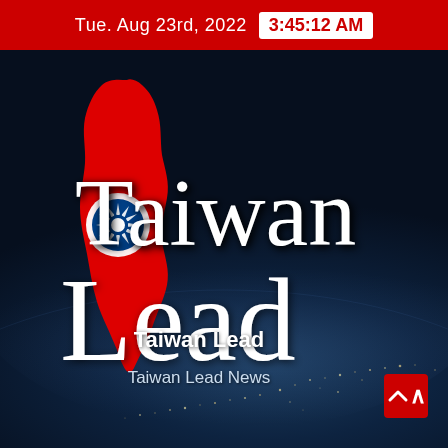Tue. Aug 23rd, 2022  3:45:12 AM
[Figure (logo): Taiwan Lead news app logo. Features a large red silhouette of the island of Taiwan with a blue 12-pointed star symbol, overlaid on a dark space/earth background. Large white serif text reads 'Taiwan Lead'.]
Taiwan Lead
Taiwan Lead News